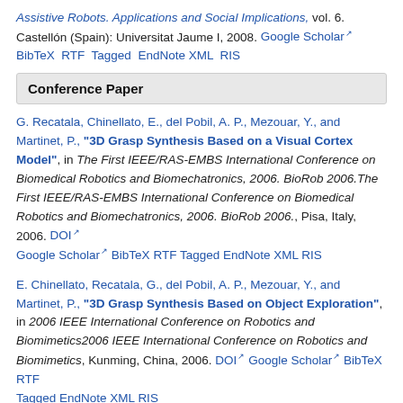Assistive Robots. Applications and Social Implications, vol. 6. Castellón (Spain): Universitat Jaume I, 2008. Google Scholar BibTeX RTF Tagged EndNote XML RIS
Conference Paper
G. Recatala, Chinellato, E., del Pobil, A. P., Mezouar, Y., and Martinet, P., "3D Grasp Synthesis Based on a Visual Cortex Model", in The First IEEE/RAS-EMBS International Conference on Biomedical Robotics and Biomechatronics, 2006. BioRob 2006.The First IEEE/RAS-EMBS International Conference on Biomedical Robotics and Biomechatronics, 2006. BioRob 2006., Pisa, Italy, 2006. DOI Google Scholar BibTeX RTF Tagged EndNote XML RIS
E. Chinellato, Recatala, G., del Pobil, A. P., Mezouar, Y., and Martinet, P., "3D Grasp Synthesis Based on Object Exploration", in 2006 IEEE International Conference on Robotics and Biomimetics2006 IEEE International Conference on Robotics and Biomimetics, Kunming, China, 2006. DOI Google Scholar BibTeX RTF Tagged EndNote XML RIS
A. Morales, Sanz, P. J., Recatala, G., del Pobil, A. P., and Iñesta, J. M.,